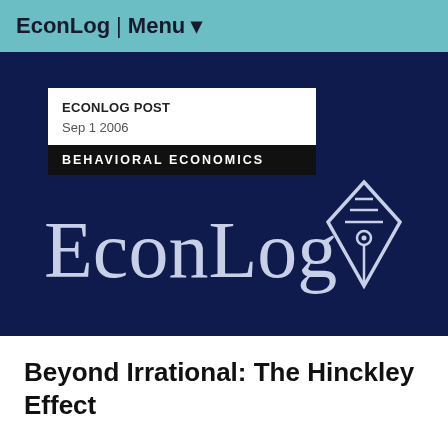EconLog | Menu
ECONLOG POST
Sep 1 2006
BEHAVIORAL ECONOMICS
[Figure (logo): EconLog logo with large serif text 'EconLog' and a pen nib icon on dark navy background]
Beyond Irrational: The Hinckley Effect